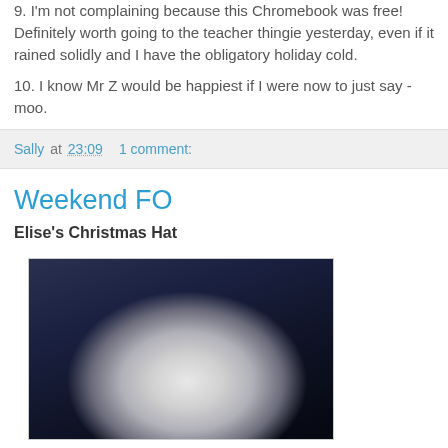9. I'm not complaining because this Chromebook was free! Definitely worth going to the teacher thingie yesterday, even if it rained solidly and I have the obligatory holiday cold.
10. I know Mr Z would be happiest if I were now to just say - moo.
Sally at 23:09    1 comment:
Weekend FO
Elise's Christmas Hat
[Figure (photo): Photo of a white knitted Christmas hat against a dark background, showing lace or textured knit pattern with a dark button or hole detail visible]